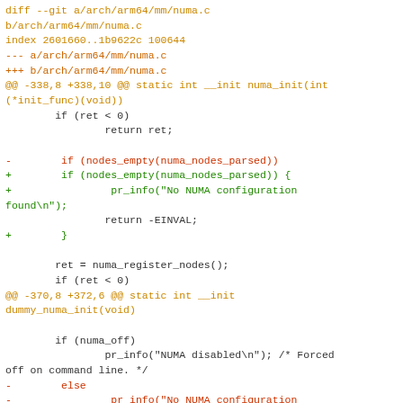diff --git a/arch/arm64/mm/numa.c b/arch/arm64/mm/numa.c
index 2601660..1b9622c 100644
--- a/arch/arm64/mm/numa.c
+++ b/arch/arm64/mm/numa.c
@@ -338,8 +338,10 @@ static int __init numa_init(int (*init_func)(void))
        if (ret < 0)
                return ret;

-        if (nodes_empty(numa_nodes_parsed))
+        if (nodes_empty(numa_nodes_parsed)) {
+                pr_info("No NUMA configuration found\n");
                return -EINVAL;
+        }

        ret = numa_register_nodes();
        if (ret < 0)
@@ -370,8 +372,6 @@ static int __init dummy_numa_init(void)

        if (numa_off)
                pr_info("NUMA disabled\n"); /* Forced off on command line. */
-        else
-                pr_info("No NUMA configuration found\n");
        pr_info("NUMA: Faking a node at [mem %#018Lx-%#018Lx]\n",